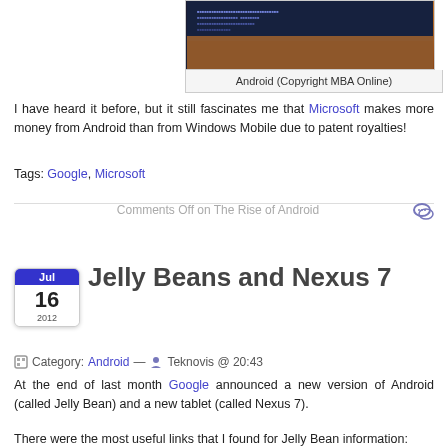[Figure (photo): Screenshot or image related to Android, dark background with orange/amber colors and code-like text]
Android (Copyright MBA Online)
I have heard it before, but it still fascinates me that Microsoft makes more money from Android than from Windows Mobile due to patent royalties!
Tags: Google, Microsoft
Comments Off on The Rise of Android
Jelly Beans and Nexus 7
Category: Android — Teknovis @ 20:43
At the end of last month Google announced a new version of Android (called Jelly Bean) and a new tablet (called Nexus 7).
There were the most useful links that I found for Jelly Bean information: